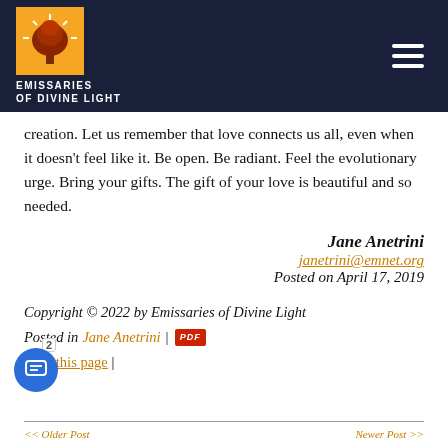Emissaries of Divine Light
creation. Let us remember that love connects us all, even when it doesn't feel like it. Be open. Be radiant. Feel the evolutionary urge. Bring your gifts. The gift of your love is beautiful and so needed.
Jane Anetrini
janetrini@emnet.org
Posted on April 17, 2019
Copyright © 2022 by Emissaries of Divine Light
Posted in Jane Anetrini |
Print this page |
<< Older Post    Newer Post >>